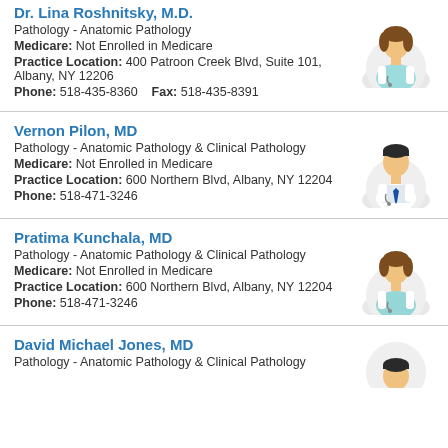Dr. Lina Roshnitsky, M.D.
Pathology - Anatomic Pathology
Medicare: Not Enrolled in Medicare
Practice Location: 400 Patroon Creek Blvd, Suite 101, Albany, NY 12206
Phone: 518-435-8360  Fax: 518-435-8391
[Figure (illustration): Generic female doctor avatar icon]
Vernon Pilon, MD
Pathology - Anatomic Pathology & Clinical Pathology
Medicare: Not Enrolled in Medicare
Practice Location: 600 Northern Blvd, Albany, NY 12204
Phone: 518-471-3246
[Figure (illustration): Generic male doctor avatar icon with blue tie]
Pratima Kunchala, MD
Pathology - Anatomic Pathology & Clinical Pathology
Medicare: Not Enrolled in Medicare
Practice Location: 600 Northern Blvd, Albany, NY 12204
Phone: 518-471-3246
[Figure (illustration): Generic female doctor avatar icon]
David Michael Jones, MD
Pathology - Anatomic Pathology & Clinical Pathology